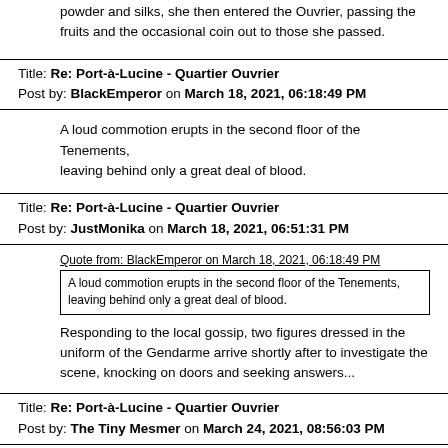powder and silks, she then entered the Ouvrier, passing the fruits and the occasional coin out to those she passed.
Title: Re: Port-à-Lucine - Quartier Ouvrier
Post by: BlackEmperor on March 18, 2021, 06:18:49 PM
A loud commotion erupts in the second floor of the Tenements, leaving behind only a great deal of blood.
Title: Re: Port-à-Lucine - Quartier Ouvrier
Post by: JustMonika on March 18, 2021, 06:51:31 PM
Quote from: BlackEmperor on March 18, 2021, 06:18:49 PM
A loud commotion erupts in the second floor of the Tenements, leaving behind only a great deal of blood.
Responding to the local gossip, two figures dressed in the uniform of the Gendarme arrive shortly after to investigate the scene, knocking on doors and seeking answers...
Title: Re: Port-à-Lucine - Quartier Ouvrier
Post by: The Tiny Mesmer on March 24, 2021, 08:56:03 PM
Escorted by an older looking human, a young halfling in tattered clothes scurries through the city and into the Quartier Ouvrier just around dusk. The man is last seen entering the